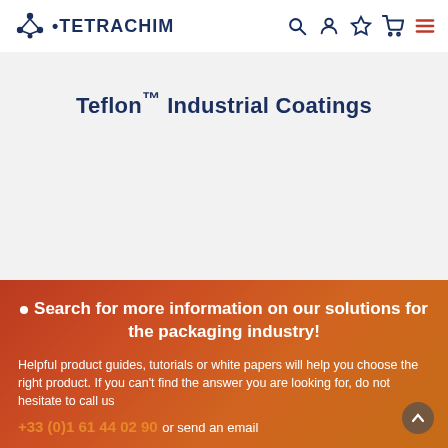TETRACHIM – header navigation with logo, search, account, favorites, cart, menu icons
Teflon™ Industrial Coatings
Search for more information on our solutions for the packaging industry!
Helpful product guides, tutorials or white papers will help you choose the right product. If you can't find the answer you are looking for, do not hesitate to call us.
+33 (0)1 61 44 02 90 or send an email